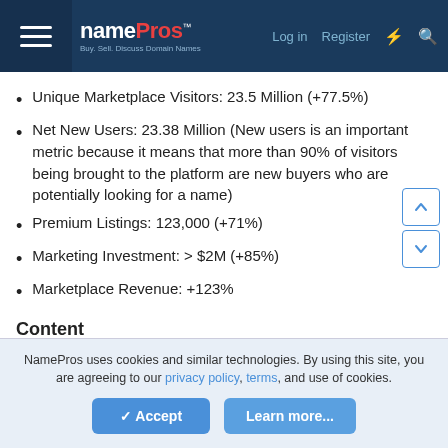namePros — Buy. Sell. Discuss Domain Names. | Log in | Register
Unique Marketplace Visitors: 23.5 Million (+77.5%)
Net New Users: 23.38 Million (New users is an important metric because it means that more than 90% of visitors being brought to the platform are new buyers who are potentially looking for a name)
Premium Listings: 123,000 (+71%)
Marketing Investment: > $2M (+85%)
Marketplace Revenue: +123%
Content
Marketplace Listings Growth & Revenue
Paid Marketing, Visitors & Revenue
Organic SEO
NamePros uses cookies and similar technologies. By using this site, you are agreeing to our privacy policy, terms, and use of cookies.